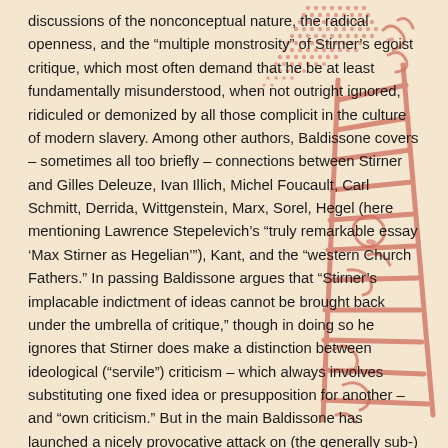discussions of the nonconceptual nature, the radical openness, and the “multiple monstrosity” of Stirner’s egoist critique, which most often demand that he be at least fundamentally misunderstood, when not outright ignored, ridiculed or demonized by all those complicit in the culture of modern slavery. Among other authors, Baldissone covers – sometimes all too briefly – connections between Stirner and Gilles Deleuze, Ivan Illich, Michel Foucault, Carl Schmitt, Derrida, Wittgenstein, Marx, Sorel, Hegel (here mentioning Lawrence Stepelevich’s “truly remarkable essay ‘Max Stirner as Hegelian’”), Kant, and the “western Church Fathers.” In passing Baldissone argues that “Stirner’s implacable indictment of ideas cannot be brought back under the umbrella of critique,” though in doing so he ignores that Stirner does make a distinction between ideological (“servile”) criticism – which always involves substituting one fixed idea or presupposition for another – and “own criticism.” But in the main Baldissone has launched a nicely provocative attack on (the generally sub-) standard Stirner scholarship in a very encouraging manner!
[Figure (illustration): Red decorative watermark/stamp-like illustration overlaid on the right side of the page, featuring a ladder-like structure with dotted patterns and calligraphic red ink markings, resembling an Asian seal or artistic stamp.]